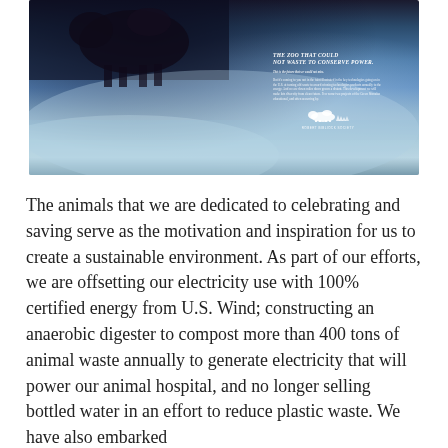[Figure (photo): An atmospheric advertisement image showing a large bison silhouette in misty blue-teal fog and haze, with advertising copy text on the right side reading 'The Zoo That Could Not Waste To Conserve Power' and small body text, with a wildlife logo and organization name at the bottom right of the ad.]
The animals that we are dedicated to celebrating and saving serve as the motivation and inspiration for us to create a sustainable environment. As part of our efforts, we are offsetting our electricity use with 100% certified energy from U.S. Wind; constructing an anaerobic digester to compost more than 400 tons of animal waste annually to generate electricity that will power our animal hospital, and no longer selling bottled water in an effort to reduce plastic waste. We have also embarked